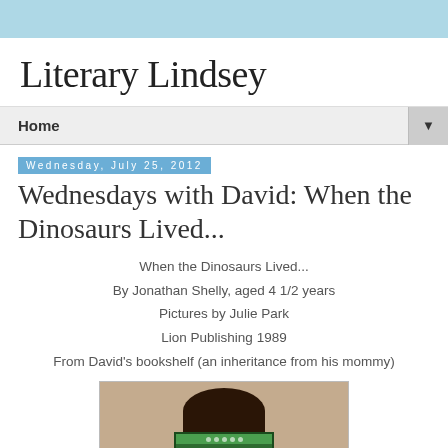Literary Lindsey
Home ▼
Wednesday, July 25, 2012
Wednesdays with David: When the Dinosaurs Lived...
When the Dinosaurs Lived...
By Jonathan Shelly, aged 4 1/2 years
Pictures by Julie Park
Lion Publishing 1989
From David's bookshelf (an inheritance from his mommy)
[Figure (photo): A child holding up a book titled 'when the [Dinosaurs Lived]' in front of their face, photographed from behind showing dark hair, against a tan/brown background.]